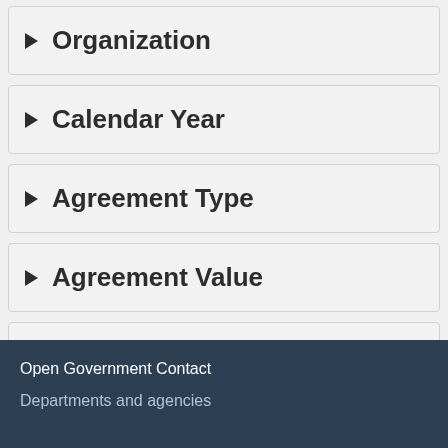▶ Organization
▶ Calendar Year
▶ Agreement Type
▶ Agreement Value
▶ Amendments
Open Government Contact
Departments and agencies